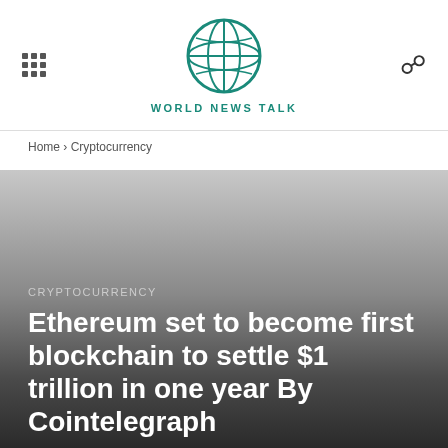WORLD NEWS TALK
Home › Cryptocurrency
[Figure (photo): Dark gradient hero image background fading from light gray at top to dark gray at bottom]
CRYPTOCURRENCY
Ethereum set to become first blockchain to settle $1 trillion in one year By Cointelegraph